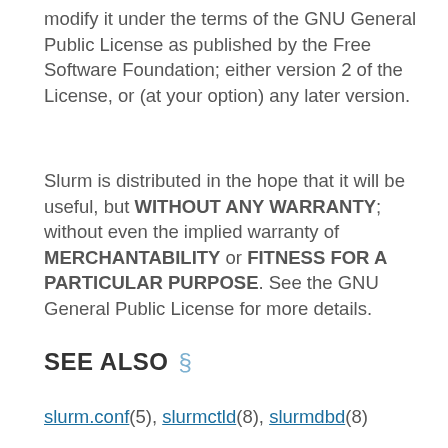modify it under the terms of the GNU General Public License as published by the Free Software Foundation; either version 2 of the License, or (at your option) any later version.
Slurm is distributed in the hope that it will be useful, but WITHOUT ANY WARRANTY; without even the implied warranty of MERCHANTABILITY or FITNESS FOR A PARTICULAR PURPOSE. See the GNU General Public License for more details.
SEE ALSO §
slurm.conf(5), slurmctld(8), slurmdbd(8)